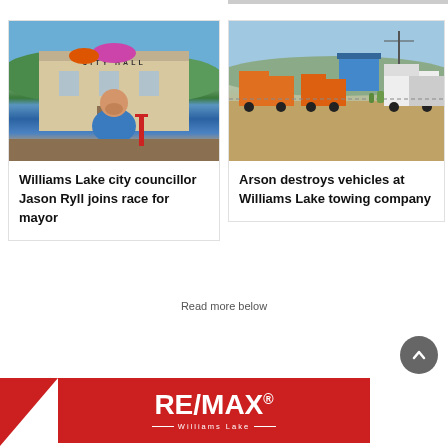[Figure (photo): Photo of a smiling man in blue shirt standing in front of City Hall building with flower baskets]
Williams Lake city councillor Jason Ryll joins race for mayor
[Figure (photo): Photo of trucks and vehicles parked on a gravel lot at a towing company]
Arson destroys vehicles at Williams Lake towing company
Read more below
[Figure (logo): RE/MAX Williams Lake advertisement banner in red and white]